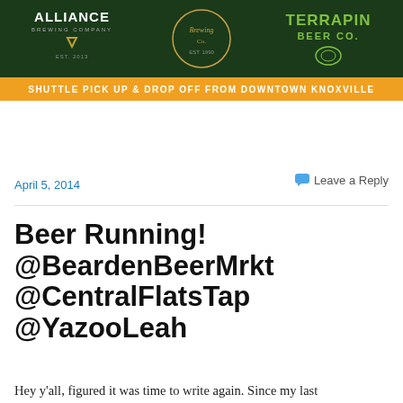[Figure (illustration): Banner advertisement for a beer festival or shuttle service featuring logos for Alliance Brewing Company, a central brewing logo, and Terrapin Beer Co. on a dark green background, with an orange bar below reading SHUTTLE PICK UP & DROP OFF FROM DOWNTOWN KNOXVILLE]
April 5, 2014
Leave a Reply
Beer Running! @BeardenBeerMrkt @CentralFlatsTap @YazooLeah
Hey y'all, figured it was time to write again. Since my last